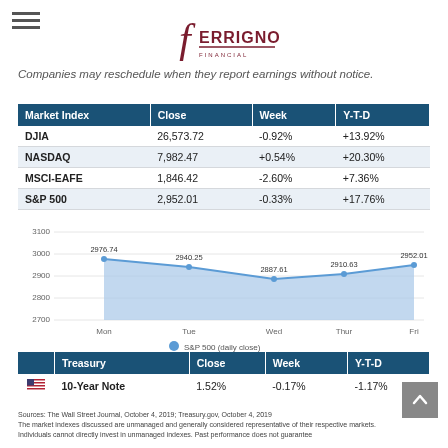[Figure (logo): Ferrigno financial logo with hamburger menu icon]
Companies may reschedule when they report earnings without notice.
| Market Index | Close | Week | Y-T-D |
| --- | --- | --- | --- |
| DJIA | 26,573.72 | -0.92% | +13.92% |
| NASDAQ | 7,982.47 | +0.54% | +20.30% |
| MSCI-EAFE | 1,846.42 | -2.60% | +7.36% |
| S&P 500 | 2,952.01 | -0.33% | +17.76% |
[Figure (area-chart): S&P 500 (daily close)]
|  | Treasury | Close | Week | Y-T-D |
| --- | --- | --- | --- | --- |
| 🇺🇸 | 10-Year Note | 1.52% | -0.17% | -1.17% |
Sources: The Wall Street Journal, October 4, 2019; Treasury.gov, October 4, 2019
The market indexes discussed are unmanaged and generally considered representative of their respective markets. Individuals cannot directly invest in unmanaged indexes. Past performance does not guarantee